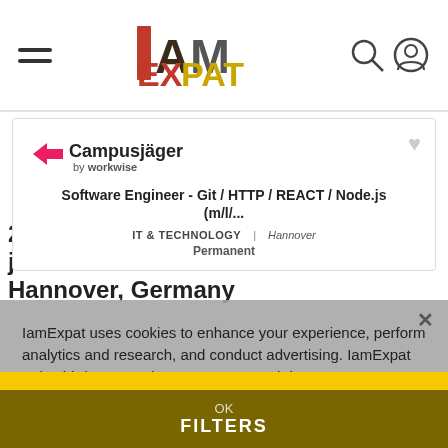[Figure (logo): IamExpat website header with hamburger menu, IamExpat logo, search and user icons]
[Figure (logo): Campusjäger by workwise logo]
Software Engineer - Git / HTTP / REACT / Node.js (m/l/...
IT & TECHNOLOGY | Hannover
Permanent
IamExpat uses cookies to enhance your experience, perform analytics and research, and conduct advertising. IamExpat or its third-party tools process personal data. You can opt out of the sale of your personal information by clicking on the 'Do not sell my personal information' link.
28 IT & Technology English-speaking jobs in Hannover, Germany
Do not sell my personal information
FILTERS